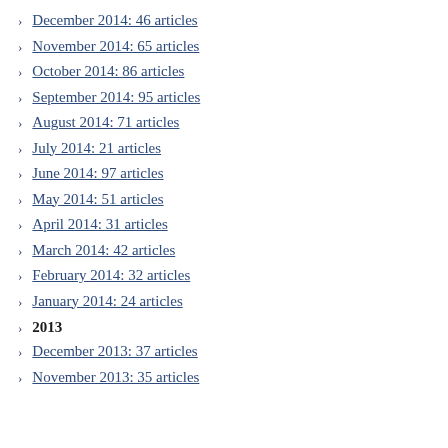December 2014: 46 articles
November 2014: 65 articles
October 2014: 86 articles
September 2014: 95 articles
August 2014: 71 articles
July 2014: 21 articles
June 2014: 97 articles
May 2014: 51 articles
April 2014: 31 articles
March 2014: 42 articles
February 2014: 32 articles
January 2014: 24 articles
2013
December 2013: 37 articles
November 2013: 35 articles